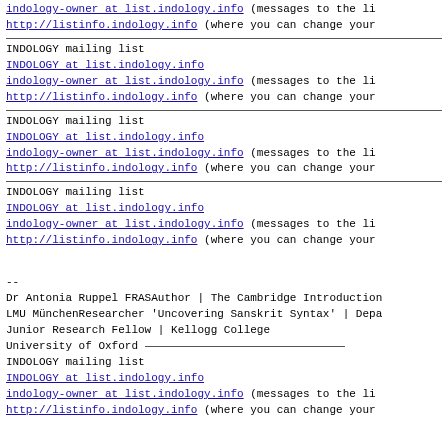indology-owner at list.indology.info (messages to the li
http://listinfo.indology.info (where you can change your
INDOLOGY mailing list
INDOLOGY at list.indology.info
indology-owner at list.indology.info (messages to the li
http://listinfo.indology.info (where you can change your
INDOLOGY mailing list
INDOLOGY at list.indology.info
indology-owner at list.indology.info (messages to the li
http://listinfo.indology.info (where you can change your
INDOLOGY mailing list
INDOLOGY at list.indology.info
indology-owner at list.indology.info (messages to the li
http://listinfo.indology.info (where you can change your
--
Dr Antonia Ruppel FRASAuthor | The Cambridge Introduction
LMU MünchenResearcher 'Uncovering Sanskrit Syntax' | Depa
Junior Research Fellow | Kellogg College
University of Oxford
INDOLOGY mailing list
INDOLOGY at list.indology.info
indology-owner at list.indology.info (messages to the li
http://listinfo.indology.info (where you can change your